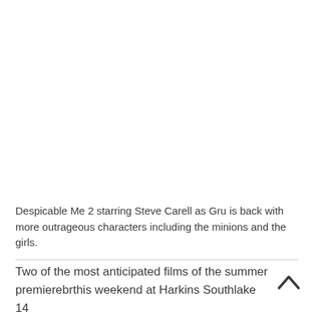Despicable Me 2 starring Steve Carell as Gru is back with more outrageous characters including the minions and the girls.
Two of the most anticipated films of the summer premierebrthis weekend at Harkins Southlake 14